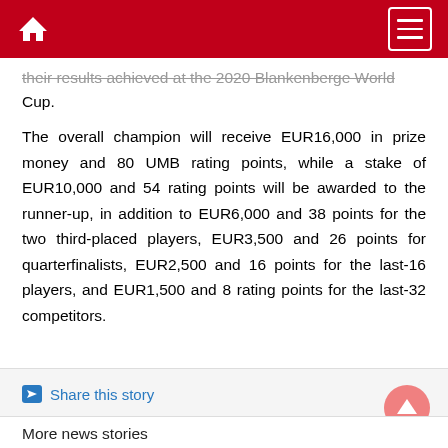Home | Menu
their results achieved at the 2020 Blankenberge World Cup.
The overall champion will receive EUR16,000 in prize money and 80 UMB rating points, while a stake of EUR10,000 and 54 rating points will be awarded to the runner-up, in addition to EUR6,000 and 38 points for the two third-placed players, EUR3,500 and 26 points for quarterfinalists, EUR2,500 and 16 points for the last-16 players, and EUR1,500 and 8 rating points for the last-32 competitors.
Share this story
More news stories